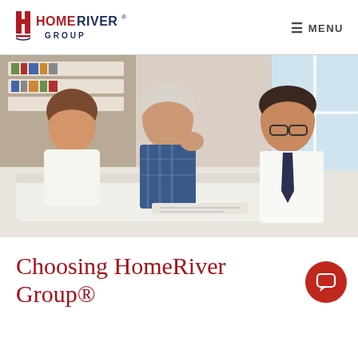HomeRiver Group — MENU
[Figure (photo): Three people (a woman and older man on a couch, and a younger man in a dress shirt and tie) reviewing documents together in a living room setting.]
Choosing HomeRiver Group®